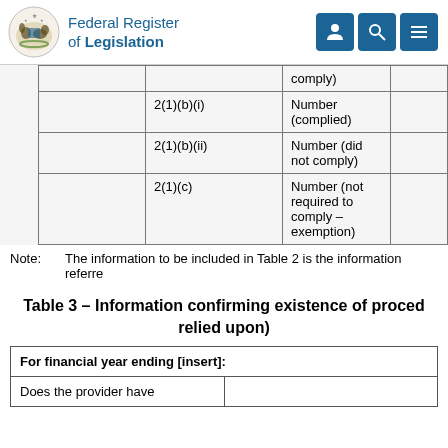Federal Register of Legislation
|  | Provision | Information |  |
| --- | --- | --- | --- |
|  |  | comply) |  |
|  | 2(1)(b)(i) | Number (complied) |  |
|  | 2(1)(b)(ii) | Number (did not comply) |  |
|  | 2(1)(c) | Number (not required to comply – exemption) |  |
Note: The information to be included in Table 2 is the information referre
Table 3 – Information confirming existence of procedures (relied upon)
| For financial year ending [insert]: |  |
| --- | --- |
| Does the provider have |  |